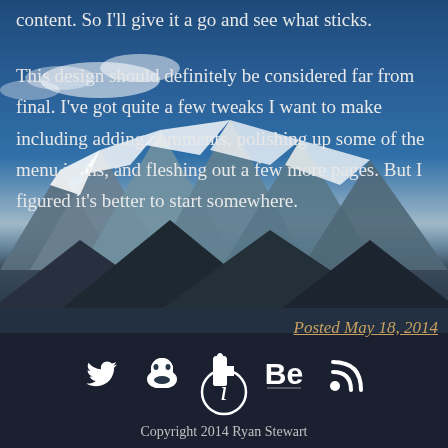content. So I'll give it a go and see what sticks.
This design should definitely be considered far from final. I've got quite a few tweaks I want to make including adding comments, polishing up some of the menu items, and fleshing out a few more pages. But I figured it's better to start somewhere.
Posted May 18, 2014
[Figure (infographic): Info icon (circle with i) and social media icons: Twitter bird, GitHub Octocat, Untappd beer, Behance Be, RSS feed]
Copyright 2014 Ryan Stewart